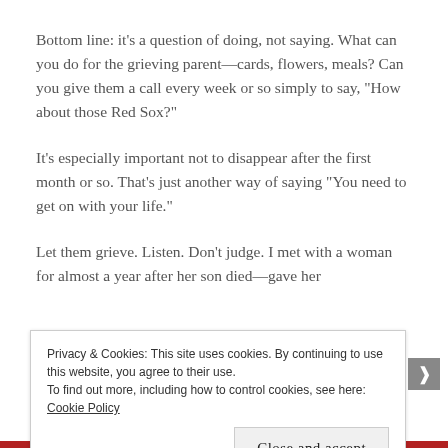Bottom line: it’s a question of doing, not saying. What can you do for the grieving parent—cards, flowers, meals? Can you give them a call every week or so simply to say, “How about those Red Sox?”
It’s especially important not to disappear after the first month or so. That’s just another way of saying “You need to get on with your life.”
Let them grieve. Listen. Don’t judge. I met with a woman for almost a year after her son died—gave her
Privacy & Cookies: This site uses cookies. By continuing to use this website, you agree to their use.
To find out more, including how to control cookies, see here: Cookie Policy
Close and accept